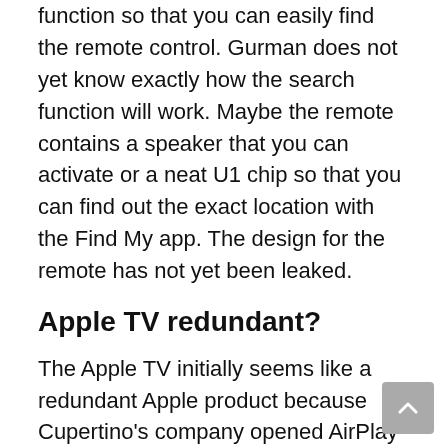function so that you can easily find the remote control. Gurman does not yet know exactly how the search function will work. Maybe the remote contains a speaker that you can activate or a neat U1 chip so that you can find out the exact location with the Find My app. The design for the remote has not yet been leaked.
Apple TV redundant?
The Apple TV initially seems like a redundant Apple product because Cupertino's company opened AirPlay 2 and the Apple TV app to other manufacturers last year . LG and Samsung , among others, have both built into their current televisions. Still, such a media cabinet from Apple is more than worth it. Especially the ease of use and playing games is a plus. You can also use the Apple TV as a Home hub for Homekit and as a display for your photos .